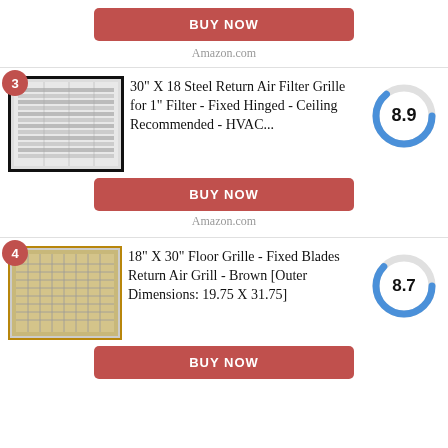[Figure (other): BUY NOW button (red/coral rounded rectangle) with Amazon.com label beneath]
Amazon.com
[Figure (photo): Product image: 30" X 18 Steel Return Air Filter Grille, numbered badge '3', score donut chart showing 8.9]
30" X 18 Steel Return Air Filter Grille for 1" Filter - Fixed Hinged - Ceiling Recommended - HVAC...
[Figure (other): BUY NOW button (red/coral)]
Amazon.com
[Figure (photo): Product image: 18" X 30" Floor Grille, numbered badge '4', score donut chart showing 8.7]
18" X 30" Floor Grille - Fixed Blades Return Air Grill - Brown [Outer Dimensions: 19.75 X 31.75]
[Figure (other): BUY NOW button (red/coral)]